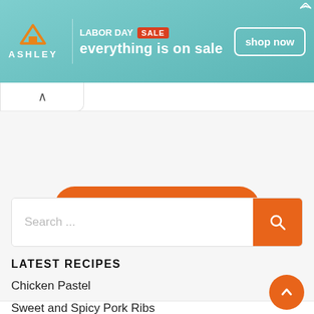[Figure (infographic): Ashley Furniture Labor Day Sale advertisement banner with teal background. Ashley house logo icon and wordmark on left, 'LABOR DAY SALE everything is on sale' text in center, 'shop now' button on right.]
[Figure (screenshot): Collapse/hide tab with upward chevron arrow]
[Figure (screenshot): POST COMMENT orange rounded button on light gray background]
[Figure (screenshot): Search input field with orange search button]
LATEST RECIPES
Chicken Pastel
Sweet and Spicy Pork Ribs